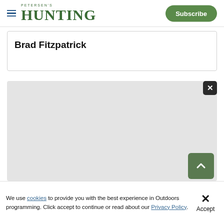PETERSEN'S HUNTING | Subscribe
Brad Fitzpatrick
[Figure (other): Advertisement or content placeholder box (light gray rectangle)]
We use cookies to provide you with the best experience in Outdoors programming. Click accept to continue or read about our Privacy Policy.